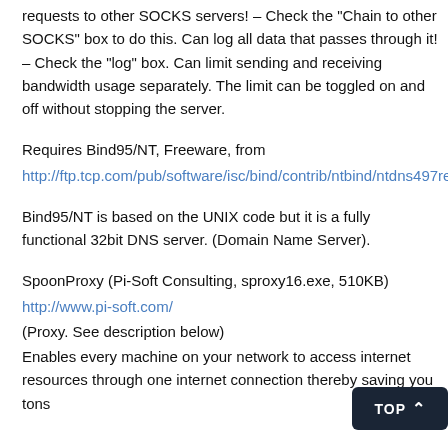requests to other SOCKS servers! – Check the "Chain to other SOCKS" box to do this. Can log all data that passes through it! – Check the "log" box. Can limit sending and receiving bandwidth usage separately. The limit can be toggled on and off without stopping the server.
Requires Bind95/NT, Freeware, from
http://ftp.tcp.com/pub/software/isc/bind/contrib/ntbind/ntdns497relbi
Bind95/NT is based on the UNIX code but it is a fully functional 32bit DNS server. (Domain Name Server).
SpoonProxy (Pi-Soft Consulting, sproxy16.exe, 510KB)
http://www.pi-soft.com/
(Proxy. See description below)
Enables every machine on your network to access internet resources through one internet connection thereby saving you tons